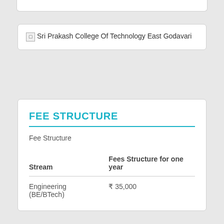[Figure (logo): Broken image placeholder for Sri Prakash College Of Technology East Godavari logo]
FEE STRUCTURE
Fee Structure
| Stream | Fees Structure for one year |
| --- | --- |
| Engineering (BE/BTech) | ₹ 35,000 |